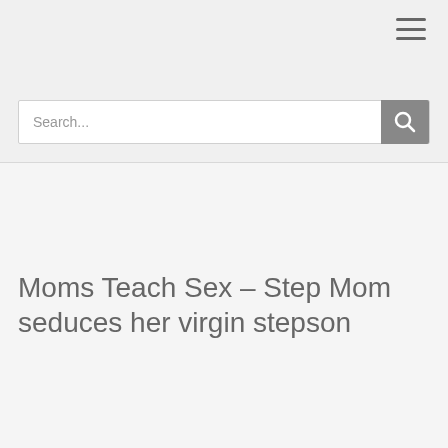[Figure (screenshot): Menu hamburger icon in top-right corner]
Search...
Moms Teach Sex – Step Mom seduces her virgin stepson